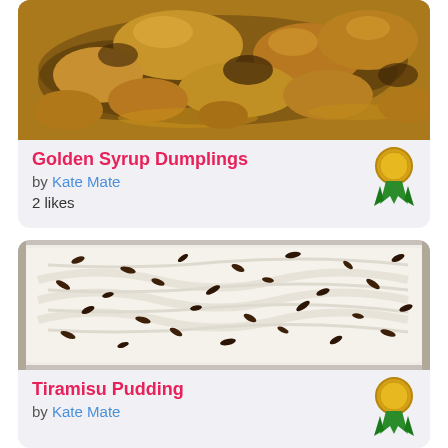[Figure (photo): Close-up photo of golden syrup dumplings, golden-brown doughy pieces in syrup]
Golden Syrup Dumplings
by Kate Mate
2 likes
[Figure (photo): Photo of tiramisu pudding in a rectangular container, topped with whipped cream and chocolate shavings]
Tiramisu Pudding
by Kate Mate